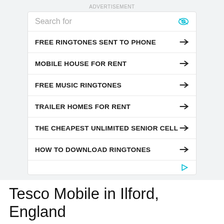ADVERTISEMENT
FREE RINGTONES SENT TO PHONE
MOBILE HOUSE FOR RENT
FREE MUSIC RINGTONES
TRAILER HOMES FOR RENT
THE CHEAPEST UNLIMITED SENIOR CELL
HOW TO DOWNLOAD RINGTONES
Tesco Mobile in Ilford, England